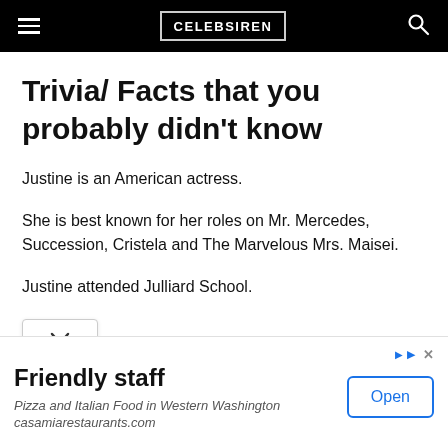CELEBSIREN
Trivia/ Facts that you probably didn't know
Justine is an American actress.
She is best known for her roles on Mr. Mercedes, Succession, Cristela and The Marvelous Mrs. Maisei.
Justine attended Julliard School.
Friendly staff
Pizza and Italian Food in Western Washington
casamiarestaurants.com